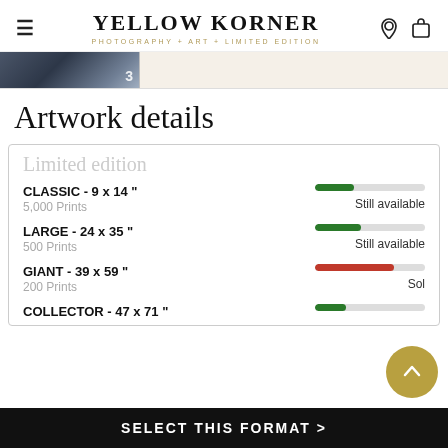YELLOW KORNER
PHOTOGRAPHY + ART + LIMITED EDITION
[Figure (photo): Partial view of a photographic artwork showing architectural/urban scene with a number 3 visible, framed against a beige background]
Artwork details
Limited edition
CLASSIC - 9 x 14 "
5,000 Prints
Still available
LARGE - 24 x 35 "
500 Prints
Still available
GIANT - 39 x 59 "
200 Prints
Sold
COLLECTOR - 47 x 71 "
SELECT THIS FORMAT >